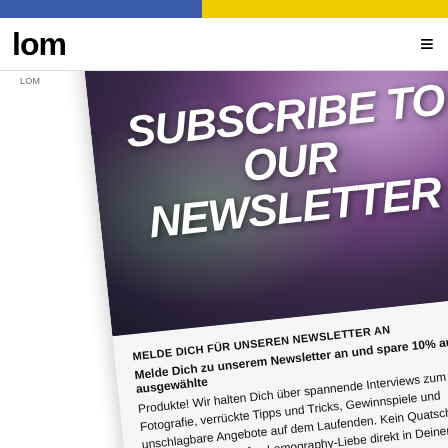lom
LOM
[Figure (photo): Newsletter subscription card tilted at an angle, showing a woman's face partially hidden by purple flowers with bold white text 'SUBSCRIBE TO OUR NEWSLETTER', with a German-language sign-up form below]
MELDE DICH FÜR UNSEREN NEWSLETTER AN
Melde Dich zu unserem Newsletter an und spare 10% auf ausgewählte Produkte! Wir halten Dich über spannende Interviews zum Thema Fotografie, verrückte Tipps und Tricks, Gewinnspiele und unschlagbare Angebote auf dem Laufenden. Kein Quatsch, einfach nur ein Haufen Lomography-Liebe direkt in Deiner Inbox.
abc@example.com
shti